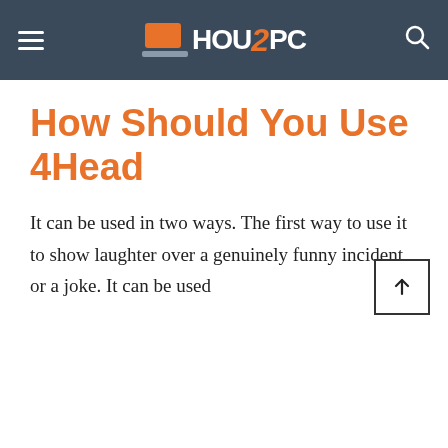HOW2PC
How Should You Use 4Head
It can be used in two ways. The first way to use it to show laughter over a genuinely funny incident, or a joke. It can be used